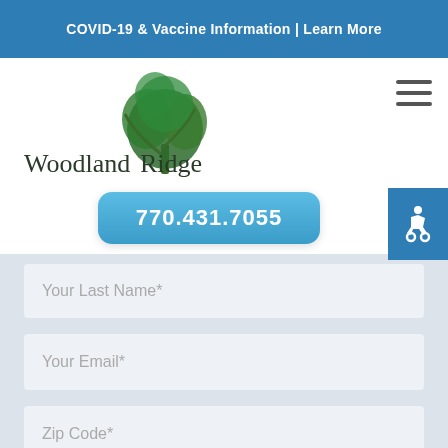COVID-19 & Vaccine Information | Learn More
[Figure (logo): Woodland Ridge logo with tree illustration]
770.431.7055
Your Last Name*
Your Email*
Zip Code*
Your Cell Phone*